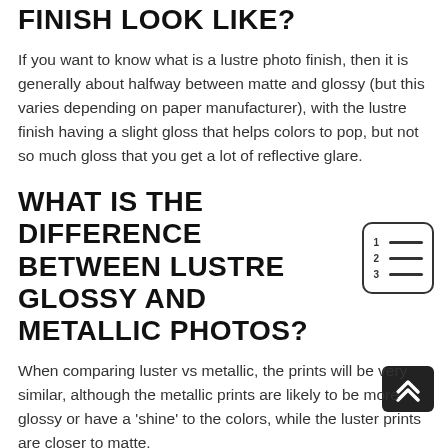FINISH LOOK LIKE?
If you want to know what is a lustre photo finish, then it is generally about halfway between matte and glossy (but this varies depending on paper manufacturer), with the lustre finish having a slight gloss that helps colors to pop, but not so much gloss that you get a lot of reflective glare.
WHAT IS THE DIFFERENCE BETWEEN LUSTRE GLOSSY AND METALLIC PHOTOS?
[Figure (illustration): Table of contents icon with numbered list lines, inside a rounded rectangle border]
When comparing luster vs metallic, the prints will be very similar, although the metallic prints are likely to be more glossy or have a 'shine' to the colors, while the luster prints are closer to matte.
[Figure (illustration): Back-to-top button: dark square with double upward chevron arrow]
WHAT IS LUSTRE PHOTO FINISH